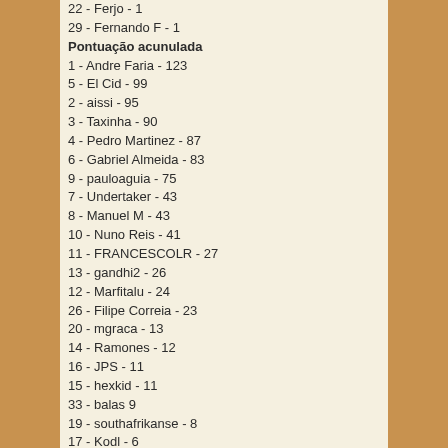22 - Ferjo - 1
29 - Fernando F - 1
Pontuação acunulada
1 - Andre Faria - 123
5 - El Cid - 99
2 - aissi - 95
3 - Taxinha - 90
4 - Pedro Martinez - 87
6 - Gabriel Almeida - 83
9 - pauloaguia - 75
7 - Undertaker - 43
8 - Manuel M - 43
10 - Nuno Reis - 41
11 - FRANCESCOLR - 27
13 - gandhi2 - 26
12 - Marfitalu - 24
26 - Filipe Correia - 23
20 - mgraca - 13
14 - Ramones - 12
16 - JPS - 11
15 - hexkid - 11
33 - balas 9
19 - southafrikanse - 8
17 - Kodl - 6
18 - creat0r - 6
21 - Universal Eyes - 4
23 - Bahia - 3
32 - Nirvana 3
27 - Tosh Ram - 3
22 - Ferjo - 3
24 - MASTERMIND - 2
25 - pysso - 2
28 - SMART ALX - 1
Main page
Waiting games (0)